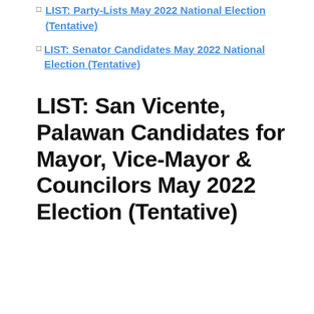LIST: Party-Lists May 2022 National Election (Tentative)
LIST: Senator Candidates May 2022 National Election (Tentative)
LIST: San Vicente, Palawan Candidates for Mayor, Vice-Mayor & Councilors May 2022 Election (Tentative)